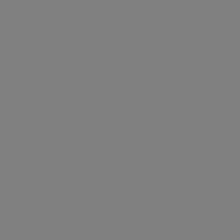[Figure (other): Solid gray rectangle filling the entire page, no visible content or text.]